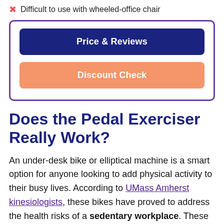Difficult to use with wheeled-office chair
Price & Reviews
Discount Check
Does the Pedal Exerciser Really Work?
An under-desk bike or elliptical machine is a smart option for anyone looking to add physical activity to their busy lives. According to UMass Amherst kinesiologists, these bikes have proved to address the health risks of a sedentary workplace. These bikes mimic